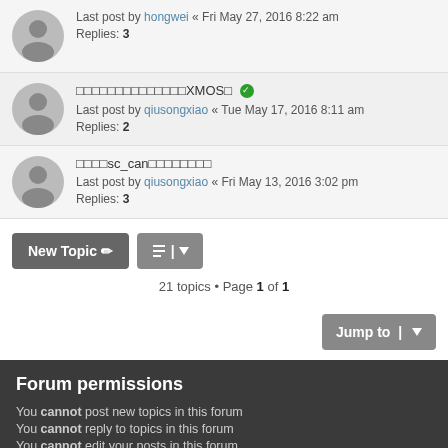Last post by hongwei « Fri May 27, 2016 8:22 am
Replies: 3
□□□□□□□□□□□□□□XMOS□ [verified] Last post by qiusongxiao « Tue May 17, 2016 8:11 am Replies: 2
□□□□sc_can□□□□□□□□ Last post by qiusongxiao « Fri May 13, 2016 3:02 pm Replies: 3
21 topics • Page 1 of 1
Forum permissions
You cannot post new topics in this forum
You cannot reply to topics in this forum
You cannot edit your posts in this forum
You cannot delete your posts in this forum
You cannot post attachments in this forum
Home › Board index